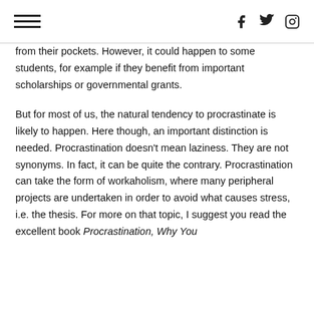[hamburger menu] [facebook] [twitter] [instagram]
from their pockets. However, it could happen to some students, for example if they benefit from important scholarships or governmental grants.
But for most of us, the natural tendency to procrastinate is likely to happen. Here though, an important distinction is needed. Procrastination doesn't mean laziness. They are not synonyms. In fact, it can be quite the contrary. Procrastination can take the form of workaholism, where many peripheral projects are undertaken in order to avoid what causes stress, i.e. the thesis. For more on that topic, I suggest you read the excellent book Procrastination, Why You